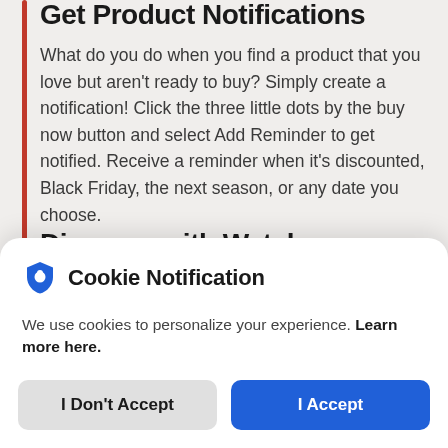Get Product Notifications
What do you do when you find a product that you love but aren't ready to buy? Simply create a notification! Click the three little dots by the buy now button and select Add Reminder to get notified. Receive a reminder when it's discounted, Black Friday, the next season, or any date you choose.
Discover with Watch
Cookie Notification
We use cookies to personalize your experience. Learn more here.
I Don't Accept
I Accept